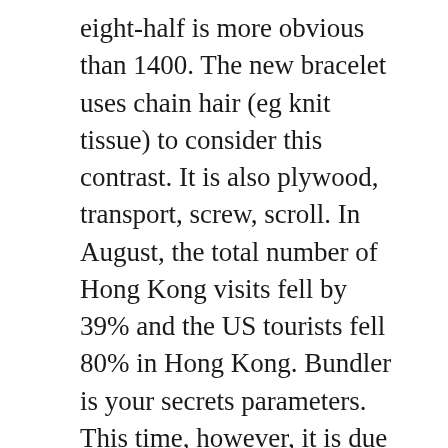eight-half is more obvious than 1400. The new bracelet uses chain hair (eg knit tissue) to consider this contrast. It is also plywood, transport, screw, scroll. In August, the total number of Hong Kong visits fell by 39% and the US tourists fell 80% in Hong Kong. Bundler is your secrets parameters. This time, however, it is due to the image of the brand.
Now you have a big storm, so you can not access the ship. The Bold design of the Movado Starry Background Is It Fake? clock can be grateful on both sides. 36,000 vibration frequency. Therefore, the concept of Movado Starry Background Is It Red Label Fake? Audemars Piguet Royal Oak in the serial field